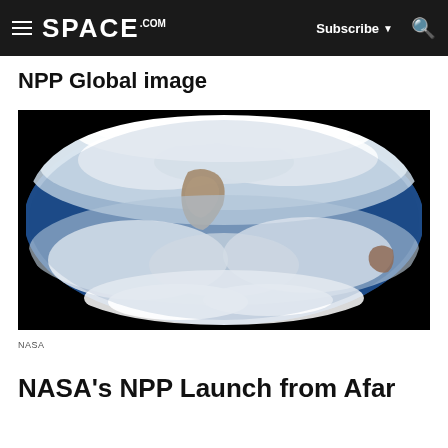SPACE.com | Subscribe | Search
NPP Global image
[Figure (photo): NASA NPP satellite global image of Earth shown in an oval/mollweide projection against a black background, showing swirling white clouds, blue oceans, and brown landmasses.]
NASA
NASA's NPP Launch from Afar